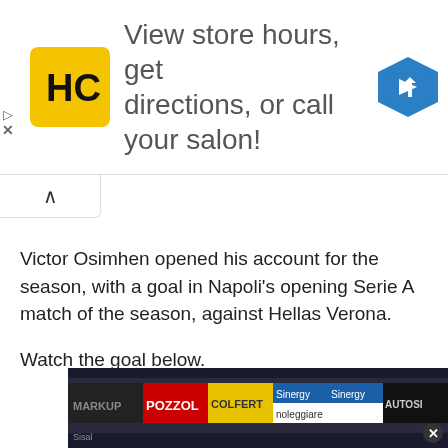[Figure (screenshot): Advertisement banner for a hair salon chain (HC logo in yellow square) with text 'View store hours, get directions, or call your salon!' and a blue navigation arrow icon on the right. Small play and X controls on the far left edge.]
Victor Osimhen opened his account for the season, with a goal in Napoli's opening Serie A match of the season, against Hellas Verona.
Watch the goal below.
[Figure (screenshot): Bottom partial screenshot of a football/soccer match video showing stadium advertisement hoardings including brands: Sinergy, Colfert, noleggiare, AUTOSIC, MARKUP, POZZOL, Sisal, with an X close button on the right.]